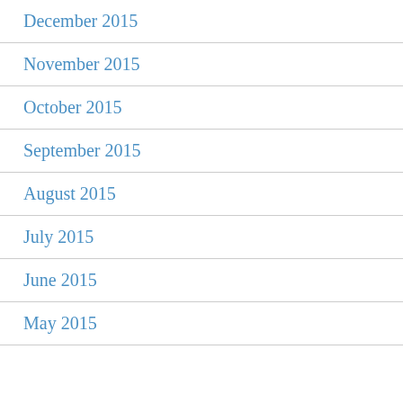December 2015
November 2015
October 2015
September 2015
August 2015
July 2015
June 2015
May 2015